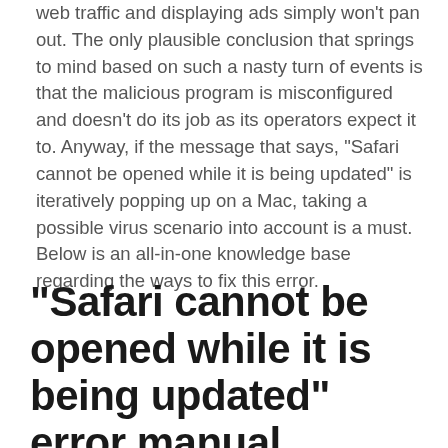web traffic and displaying ads simply won't pan out. The only plausible conclusion that springs to mind based on such a nasty turn of events is that the malicious program is misconfigured and doesn't do its job as its operators expect it to. Anyway, if the message that says, “Safari cannot be opened while it is being updated” is iteratively popping up on a Mac, taking a possible virus scenario into account is a must. Below is an all-in-one knowledge base regarding the ways to fix this error.
“Safari cannot be opened while it is being updated” error manual removal for Mac